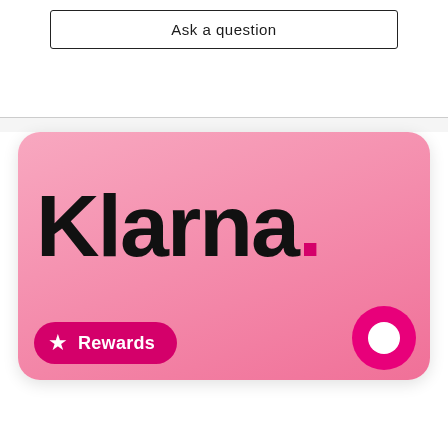Ask a question
[Figure (logo): Klarna branded card with pink gradient background showing 'Klarna.' logo in bold black text, a 'Rewards' pill button with star icon in hot pink at bottom left, and a circular chat icon at bottom right]